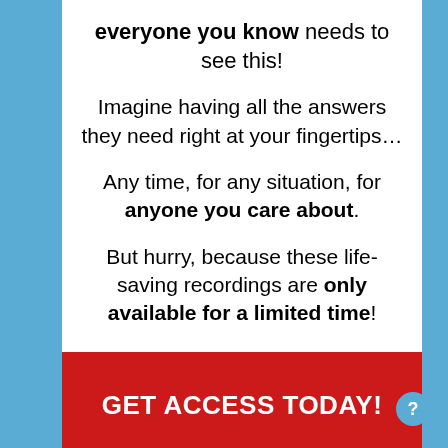everyone you know needs to see this!
Imagine having all the answers they need right at your fingertips…
Any time, for any situation, for anyone you care about.
But hurry, because these life-saving recordings are only available for a limited time!
GET ACCESS TODAY!